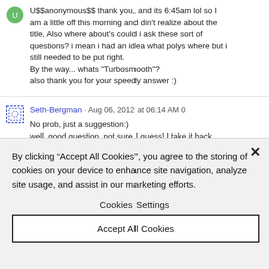U$$anonymous$$ thank you, and its 6:45am lol so I am a little off this morning and din't realize about the title, Also where about's could i ask these sort of questions? i mean i had an idea what polys where but i still needed to be put right.
By the way... whats "Turbosmooth"?
also thank you for your speedy answer :)
Seth-Bergman · Aug 06, 2012 at 06:14 AM 0
No prob, just a suggestion:)
well, good question, not sure I guess! I take it back, forget I said anything.. Generally, animation questions would be asked on the forum corresponding to the relevant modelling tool, but you were just clarifying a basic concept, (and not an animator) so this was a fine
By clicking "Accept All Cookies", you agree to the storing of cookies on your device to enhance site navigation, analyze site usage, and assist in our marketing efforts.
Cookies Settings
Accept All Cookies